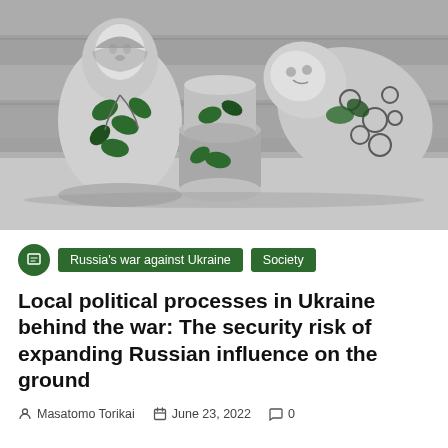[Figure (photo): Black and white photograph of Russian matryoshka nesting dolls with green painted floral decorations, displayed against a wooden plank background. One large doll stands upright on the left, its open top half sits in the middle, and a larger doll lies tipped over on the right.]
Russia's war against Ukraine   Society
Local political processes in Ukraine behind the war: The security risk of expanding Russian influence on the ground
Masatomo Torikai   June 23, 2022   0